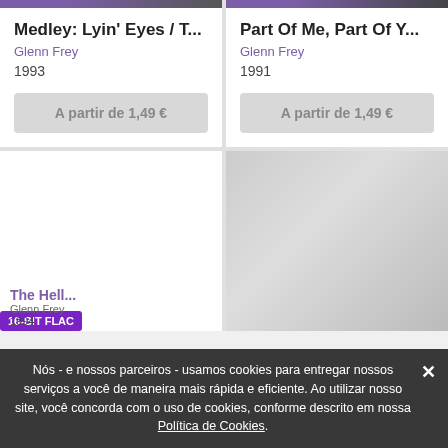[Figure (screenshot): Top band of two album artwork images partially visible at top, left has purple badge, right has purple badge]
Medley: Lyin' Eyes / T...
Glenn Frey
1993
A partir de 1,49 €
Part Of Me, Part Of Y...
Glenn Frey
1991
A partir de 1,49 €
[Figure (photo): Album artwork area, white/blank left card, grey textured right card with faint image]
16-BIT FLAC
The Hell with It (or something similar) / Glenn Frey / 1994
Nós - e nossos parceiros - usamos cookies para entregar nossos serviços a você de maneira mais rápida e eficiente. Ao utilizar nosso site, você concorda com o uso de cookies, conforme descrito em nossa Política de Cookies.